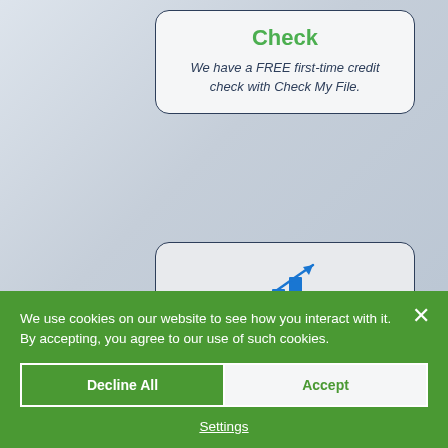Check
We have a FREE first-time credit check with Check My File.
[Figure (illustration): Blue bar chart with upward trending arrow icon representing growth/income]
Second Incomes
These are taken into consideration for full time and on call fire...
We use cookies on our website to see how you interact with it. By accepting, you agree to our use of such cookies.
Decline All
Accept
Settings